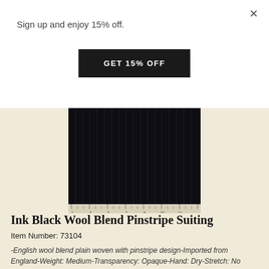×
Sign up and enjoy 15% off.
GET 15% OFF
[Figure (photo): Close-up photograph of dark ink black wool blend pinstripe suiting fabric with subtle vertical pinstripes, shown against a ruler at the bottom]
Ink Black Wool Blend Pinstripe Suiting
Item Number: 73104
-English wool blend plain woven with pinstripe design-Imported from England-Weight: Medium-Transparency: Opaque-Hand: Dry-Stretch: No Stretch-Drape: Good Drape-Luster: Matte-End Uses: suits, slacks ...
$16.95 / Yard